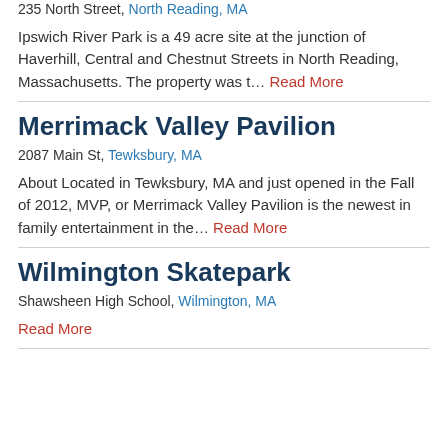235 North Street, North Reading, MA
Ipswich River Park is a 49 acre site at the junction of Haverhill, Central and Chestnut Streets in North Reading, Massachusetts. The property was t… Read More
Merrimack Valley Pavilion
2087 Main St, Tewksbury, MA
About Located in Tewksbury, MA and just opened in the Fall of 2012, MVP, or Merrimack Valley Pavilion is the newest in family entertainment in the… Read More
Wilmington Skatepark
Shawsheen High School, Wilmington, MA
Read More